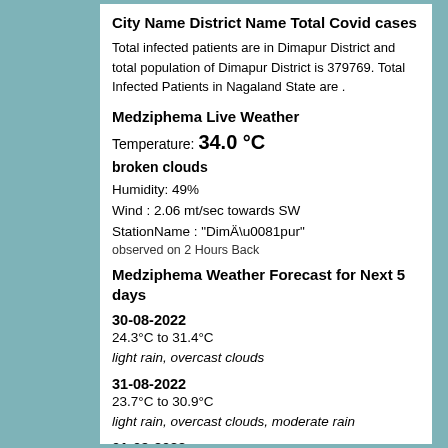City Name District Name Total Covid cases
Total infected patients are in Dimapur District and total population of Dimapur District is 379769. Total Infected Patients in Nagaland State are .
Medziphema Live Weather
Temperature: 34.0 °C
broken clouds
Humidity: 49%
Wind : 2.06 mt/sec towards SW
StationName : "DimÄ\u0081pur"
observed on 2 Hours Back
Medziphema Weather Forecast for Next 5 days
30-08-2022
24.3°C to 31.4°C
light rain, overcast clouds
31-08-2022
23.7°C to 30.9°C
light rain, overcast clouds, moderate rain
01-09-2022
24.0°C to 32.2°C
overcast clouds, light rain, moderate rain
02-09-2022
23.8°C to 33.8°C